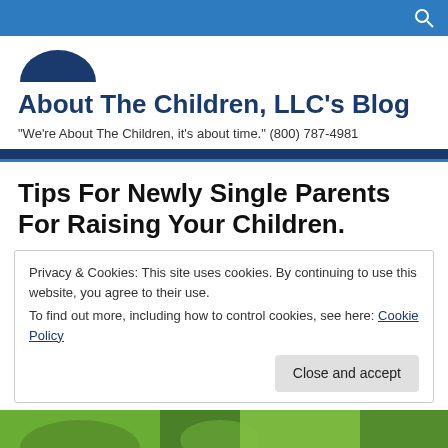[Figure (logo): Dark blue arc/dome shape representing the About The Children LLC logo]
About The Children, LLC's Blog
"We're About The Children, it's about time." (800) 787-4981
Tips For Newly Single Parents For Raising Your Children.
Privacy & Cookies: This site uses cookies. By continuing to use this website, you agree to their use.
To find out more, including how to control cookies, see here: Cookie Policy
Close and accept
[Figure (photo): Partial view of a photo at the bottom of the page showing green outdoor scene]